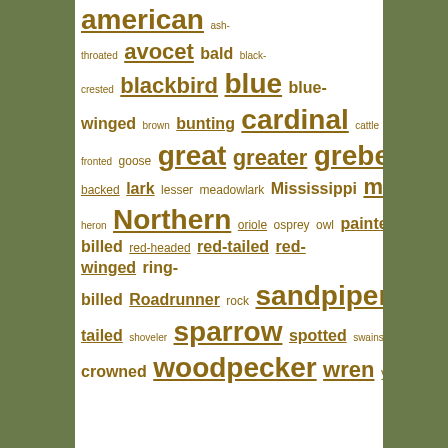[Figure (other): Tag cloud of bird-related words in gold/brown on a white panel, with a blurred green foliage background on either side. Words vary in font size to indicate frequency.]